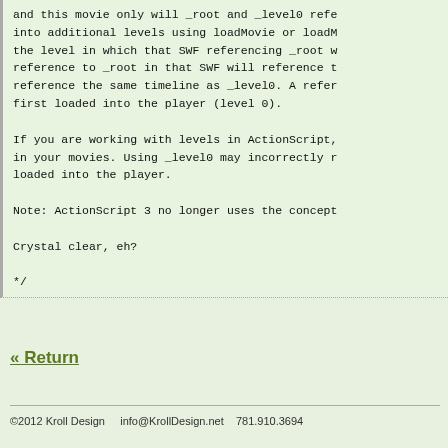and this movie only will _root and _level0 refe...
into additional levels using loadMovie or loadM...
the level in which that SWF referencing _root w...
reference to _root in that SWF will reference t...
reference the same timeline as _level0. A refer...
first loaded into the player (level 0).

If you are working with levels in ActionScript,...
in your movies. Using _level0 may incorrectly r...
loaded into the player.

Note: ActionScript 3 no longer uses the concept...

Crystal clear, eh?

*/
« Return
©2012 Kroll Design    info@KrollDesign.net    781.910.3694